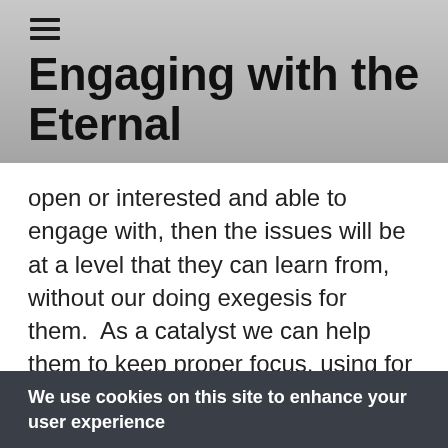≡
Engaging with the Eternal
open or interested and able to engage with, then the issues will be at a level that they can learn from, without our doing exegesis for them.  As a catalyst we can help them to keep proper focus, using for example questions, so that their own worldview will not change the truth of the Scriptures.  If we are positive and trusted catalysts, who have
We use cookies on this site to enhance your user experience